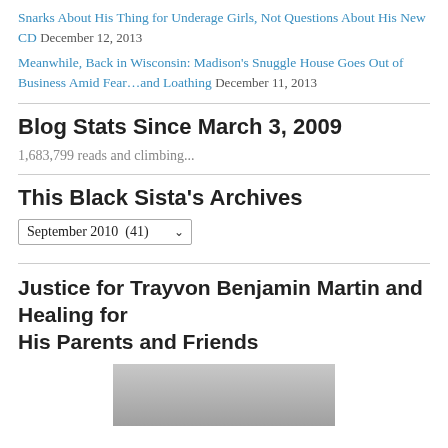Snarks About His Thing for Underage Girls, Not Questions About His New CD December 12, 2013
Meanwhile, Back in Wisconsin: Madison's Snuggle House Goes Out of Business Amid Fear…and Loathing December 11, 2013
Blog Stats Since March 3, 2009
1,683,799 reads and climbing...
This Black Sista's Archives
September 2010  (41)
Justice for Trayvon Benjamin Martin and Healing for His Parents and Friends
[Figure (photo): Black and white photo, partially visible at bottom of page]